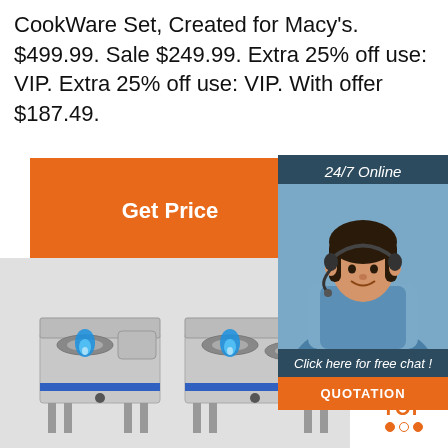CookWare Set, Created for Macy's. $499.99. Sale $249.99. Extra 25% off use: VIP. Extra 25% off use: VIP. With offer $187.49.
[Figure (other): Orange 'Get Price' button]
[Figure (other): 24/7 Online chat agent box with female customer service agent photo, 'Click here for free chat!' text, and orange QUOTATION button]
[Figure (photo): Two stainless steel commercial gas wok burner stoves with blue flames, displayed on grey background. A 'TOP' badge with orange dots is in the lower right.]